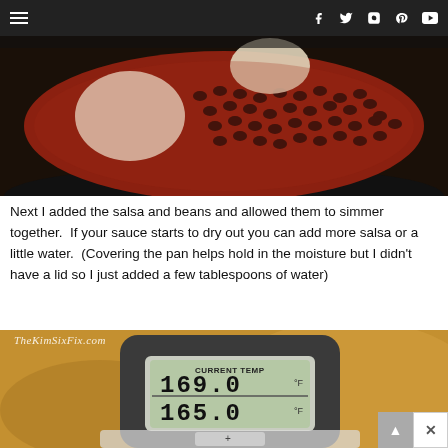Navigation bar with hamburger menu and social icons (Facebook, Twitter, Instagram, Pinterest, YouTube)
[Figure (photo): Close-up photo of a dark skillet/pan containing dark beans (black beans) in a red tomato-salsa sauce with what appears to be pieces of chicken or white protein, viewed from above]
Next I added the salsa and beans and allowed them to simmer together.  If your sauce starts to dry out you can add more salsa or a little water.  (Covering the pan helps hold in the moisture but I didn't have a lid so I just added a few tablespoons of water)
[Figure (photo): Close-up photo of a digital meat thermometer showing CURRENT TEMP reading of 169.0°F on top display and 165.0°F on lower display, with SET TEMP label partially visible at bottom. Watermark reads TheKimSixFix.com]